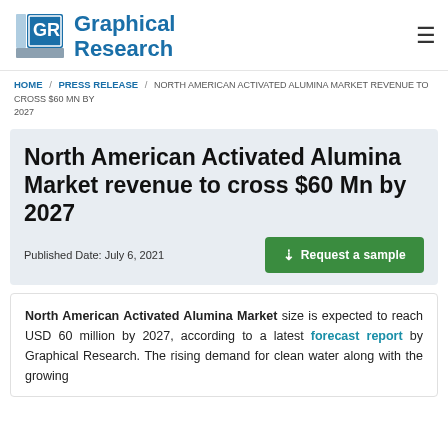Graphical Research
HOME / PRESS RELEASE / NORTH AMERICAN ACTIVATED ALUMINA MARKET REVENUE TO CROSS $60 MN BY 2027
North American Activated Alumina Market revenue to cross $60 Mn by 2027
Published Date: July 6, 2021
North American Activated Alumina Market size is expected to reach USD 60 million by 2027, according to a latest forecast report by Graphical Research. The rising demand for clean water along with the growing